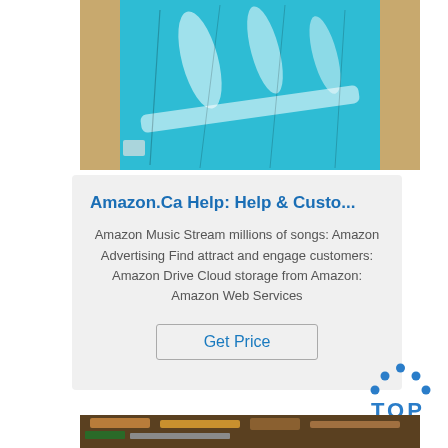[Figure (photo): Photo of blue sheet material (metallic/plastic) in a cardboard box, with light reflections visible on the surface.]
Amazon.Ca Help: Help & Custo...
Amazon Music Stream millions of songs: Amazon Advertising Find attract and engage customers: Amazon Drive Cloud storage from Amazon: Amazon Web Services
Get Price
[Figure (logo): TOP logo with dotted arc above the word TOP in blue.]
[Figure (photo): Photo of wooden planks and various materials.]